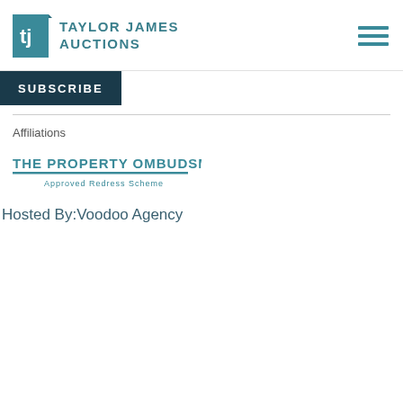[Figure (logo): Taylor James Auctions logo with teal square icon showing 'tj' and the text TAYLOR JAMES AUCTIONS in teal]
[Figure (other): Hamburger menu icon (three horizontal teal lines)]
SUBSCRIBE
Affiliations
[Figure (logo): The Property Ombudsman - Approved Redress Scheme logo in teal]
Hosted By:Voodoo Agency